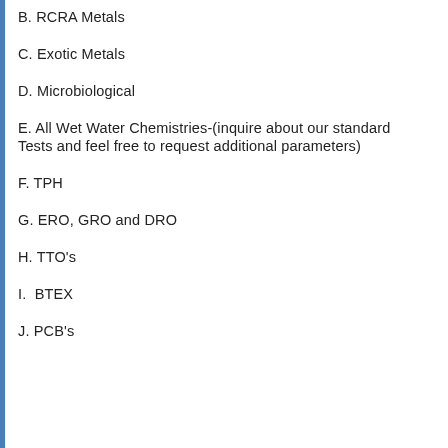B. RCRA Metals
C. Exotic Metals
D. Microbiological
E. All Wet Water Chemistries-(inquire about our standard Tests and feel free to request additional parameters)
F. TPH
G. ERO, GRO and DRO
H. TTO's
I.  BTEX
J. PCB's